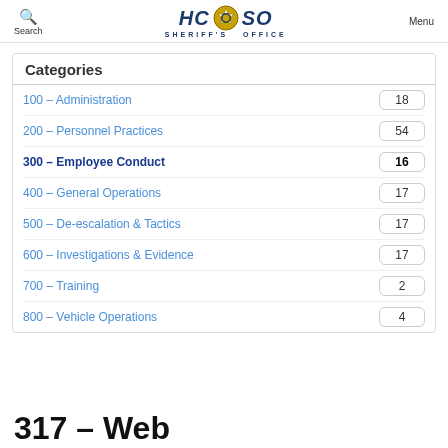Search | HCSO SHERIFF'S OFFICE | Menu
Categories
100 – Administration  18
200 – Personnel Practices  54
300 – Employee Conduct  16
400 – General Operations  17
500 – De-escalation & Tactics  17
600 – Investigations & Evidence  17
700 – Training  2
800 – Vehicle Operations  4
317 – Web